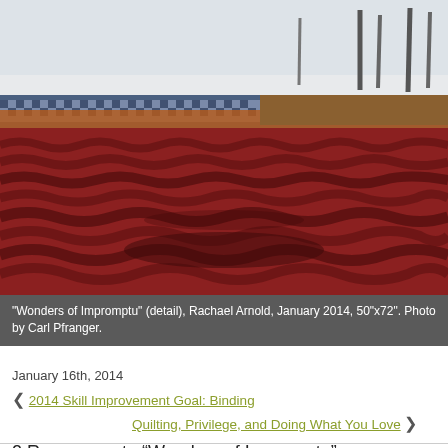[Figure (photo): Close-up photograph of a quilt titled 'Wonders of Impromptu' by Rachael Arnold, showing red/rust fabric texture in foreground with blue and patterned quilts behind, set outdoors in winter snow scene with bare trees in background.]
“Wonders of Impromptu” (detail), Rachael Arnold, January 2014, 50”x72”. Photo by Carl Pfranger.
January 16th, 2014
❮ 2014 Skill Improvement Goal: Binding   Quilting, Privilege, and Doing What You Love ❯
2 Responses to “Wonders of Impromptu”